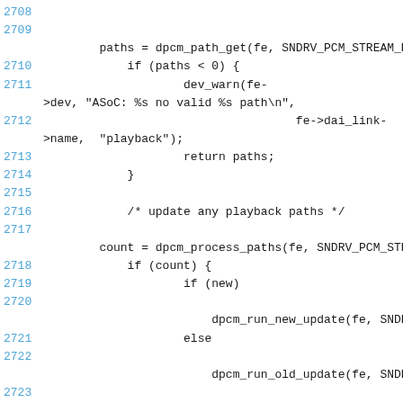[Figure (screenshot): Source code listing showing C code for DPCM path management. Lines 2708-2725 are shown with line numbers in blue on the left and code in monospace font. The code includes path retrieval, error handling with dev_warn, return statements, playback path update comments, process path calls, conditional new/old update logic, and clear pending state calls.]